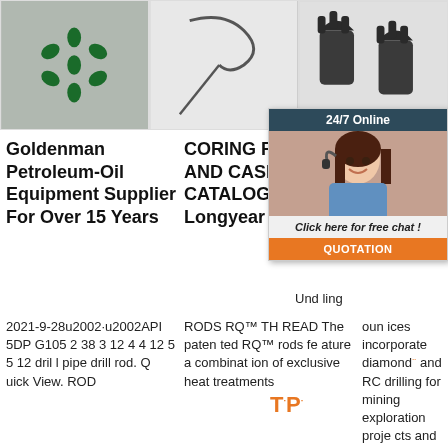[Figure (photo): Green drill bit inserts arranged in a star/flower pattern on a gray background]
[Figure (photo): Metal coring tool or retrieval spring hook on a white background]
[Figure (photo): Two dark grey drill bit heads/core drill bits on a white background]
[Figure (infographic): 24/7 Online chat widget with female customer service agent wearing headset, orange QUOTATION button, and 'Click here for free chat!' text]
Goldenman Petroleum-Oil Equipment Supplier For Over 15 Years
CORING RODS AND CASING CATALOG - Boart Longyear
Min Se Se Ca
2021-9-28u2002·u2002API 5DP G105 2 38 3 12 4 4 12 5 5 12 dril l pipe drill rod. Q uick View. ROD
RODS RQ™ TH READ The paten ted RQ™ rods fe ature a combinat ion of exclusive heat treatments
Und ling oun ices incorporate diamond and RC drilling for mining exploration proje cts and grade co